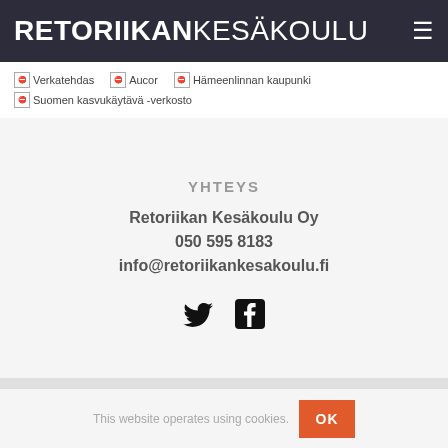RETORIIKANKESÄKOULU
[Figure (logo): Broken image placeholder for Verkatehdas sponsor logo]
[Figure (logo): Broken image placeholder for Aucor sponsor logo]
[Figure (logo): Broken image placeholder for Hämeenlinnan kaupunki sponsor logo]
[Figure (logo): Broken image placeholder for Suomen kasvukäytävä -verkosto sponsor logo]
YHTEYS
Retoriikan Kesäkoulu Oy
050 595 8183
info@retoriikankesakoulu.fi
[Figure (infographic): Twitter bird icon and Facebook square icon (social media links)]
This website operates using cookies.
OK